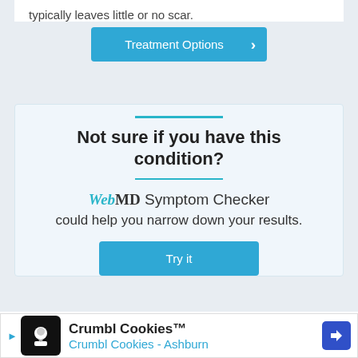typically leaves little or no scar.
Treatment Options
Not sure if you have this condition?
WebMD Symptom Checker could help you narrow down your results.
Try it
ADVERTISEMENT
Crumbl Cookies™ Crumbl Cookies - Ashburn